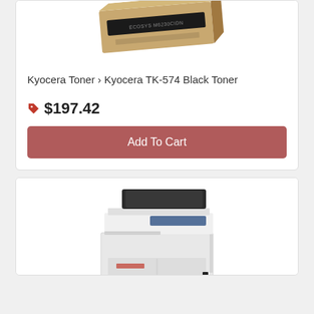[Figure (photo): Product photo of Kyocera TK-574 Black Toner cartridge box, gold/tan colored box shown at an angle]
Kyocera Toner › Kyocera TK-574 Black Toner
$197.42
Add To Cart
[Figure (photo): Product photo of a Kyocera multifunction printer/copier, white and black floor-standing unit with document feeder on top]